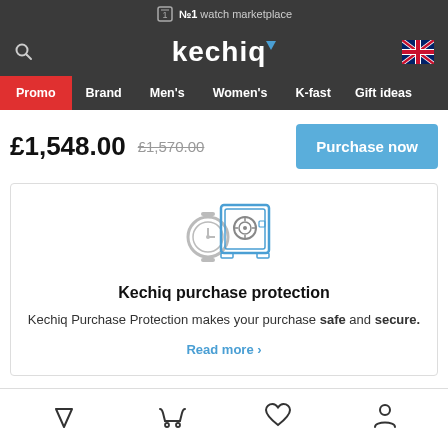№1 watch marketplace
[Figure (logo): Kechiq logo with triangle accent and UK flag icon, search icon on left]
Promo | Brand | Men's | Women's | K-fast | Gift ideas
£1,548.00  £1,570.00  Purchase now
[Figure (illustration): Kechiq purchase protection icon: watch and safe/vault graphic]
Kechiq purchase protection
Kechiq Purchase Protection makes your purchase safe and secure.
Read more ›
Bottom navigation icons: filter, cart, wishlist, account